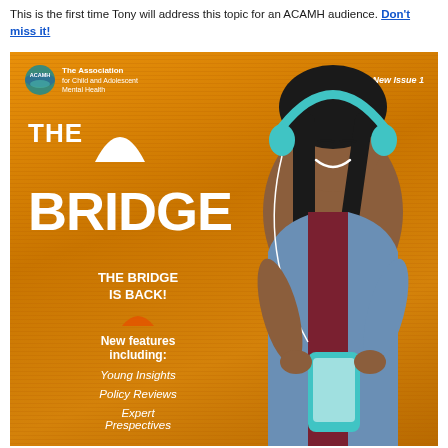This is the first time Tony will address this topic for an ACAMH audience. Don't miss it!
[Figure (illustration): Magazine cover of 'The Bridge' published by ACAMH (The Association for Child and Adolescent Mental Health), 2021 New Issue 1. Orange/gold background with horizontal line texture. Features a young Black woman smiling, wearing teal headphones and a denim jacket, looking at a smartphone. Left side shows 'THE BRIDGE' in large white bold text with an arch/bridge icon. Below: 'THE BRIDGE IS BACK!' and 'New features including: Young Insights, Policy Reviews, Expert Prespectives'. ACAMH logo in top left.]